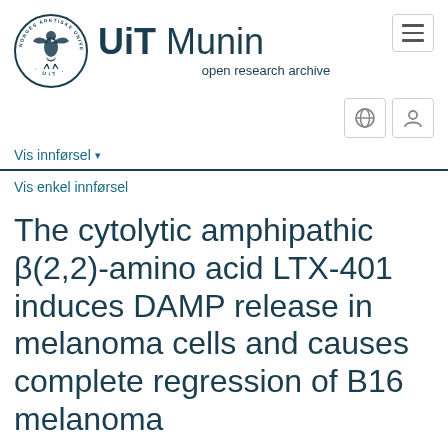[Figure (logo): UiT Norges Arktiske Universitet circular seal logo with bird/eagle figure, and 'UiT Munin open research archive' text header]
Vis innførsel ▾
Vis enkel innførsel
The cytolytic amphipathic β(2,2)-amino acid LTX-401 induces DAMP release in melanoma cells and causes complete regression of B16 melanoma